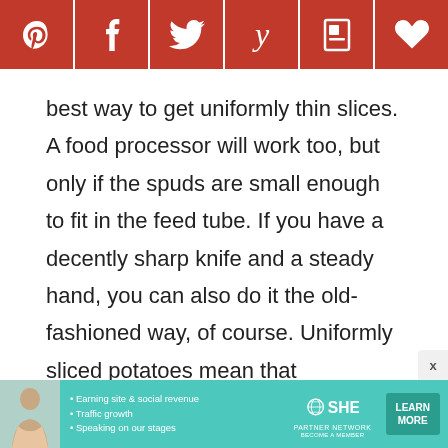[Figure (other): Social sharing bar with Pinterest, Facebook, Twitter, Yummly, Flipboard, and heart/save icons on a dark red background]
best way to get uniformly thin slices. A food processor will work too, but only if the spuds are small enough to fit in the feed tube. If you have a decently sharp knife and a steady hand, you can also do it the old-fashioned way, of course. Uniformly sliced potatoes mean that everything will cook at the same rate, giving you crisp outsides and fluffy insides.
[Figure (other): Advertisement banner for SHE Media Partner Network featuring a woman's photo, bullet points about earning site & social revenue, traffic growth, speaking on our stages, SHE logo, and a Learn More button]